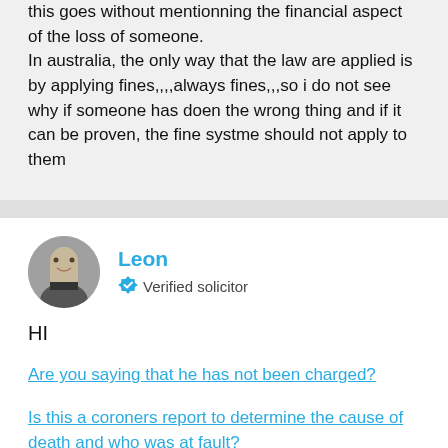this goes without mentionning the financial aspect of the loss of someone.
In australia, the only way that the law are applied is by applying fines,,,,always fines,,,so i do not see why if someone has doen the wrong thing and if it can be proven, the fine systme should not apply to them
Leon
Verified solicitor
HI
Are you saying that he has not been charged?
Is this a coroners report to determine the cause of death and who was at fault?